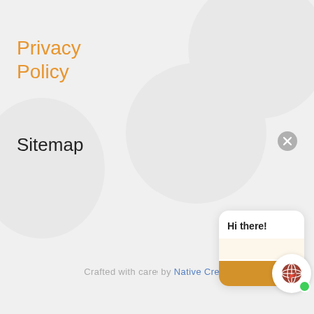Privacy Policy
Sitemap
Crafted with care by Native Creati...
[Figure (other): Chat widget showing 'Hi there!' popup with orange bar and logo circle with green dot, plus close button]